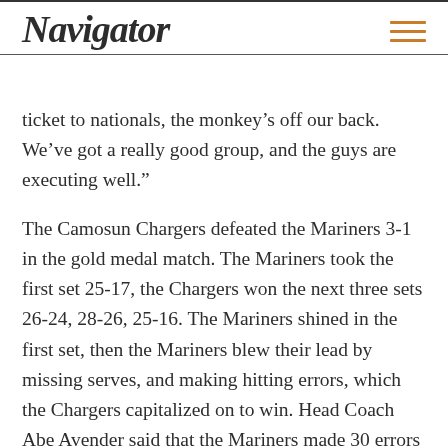Navigator
ticket to nationals, the monkey’s off our back. We’ve got a really good group, and the guys are executing well.”
The Camosun Chargers defeated the Mariners 3-1 in the gold medal match. The Mariners took the first set 25-17, the Chargers won the next three sets 26-24, 28-26, 25-16. The Mariners shined in the first set, then the Mariners blew their lead by missing serves, and making hitting errors, which the Chargers capitalized on to win. Head Coach Abe Avender said that the Mariners made 30 errors in the last two sets